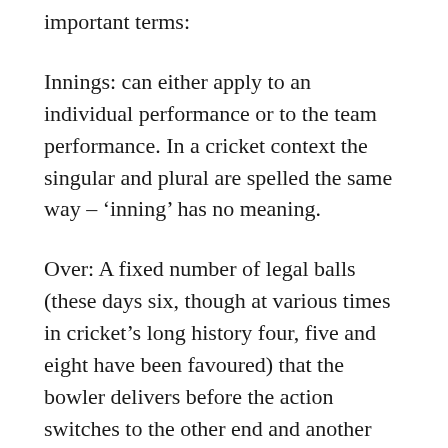important terms:
Innings: can either apply to an individual performance or to the team performance. In a cricket context the singular and plural are spelled the same way – ‘inning’ has no meaning.
Over: A fixed number of legal balls (these days six, though at various times in cricket’s long history four, five and eight have been favoured) that the bowler delivers before the action switches to the other end and another bowler.
Run: The unit in which a team score is measured. It is based on running the length of the wicket, which is on the...